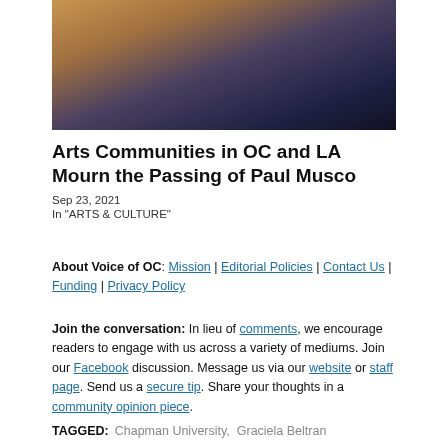[Figure (photo): Photo of two people — a woman in a bronze/gold outfit with a necklace and a man in a dark suit — posed together, likely at a formal event.]
Arts Communities in OC and LA Mourn the Passing of Paul Musco
Sep 23, 2021
In "ARTS & CULTURE"
About Voice of OC: Mission | Editorial Policies | Contact Us | Funding | Privacy Policy
Join the conversation: In lieu of comments, we encourage readers to engage with us across a variety of mediums. Join our Facebook discussion. Message us via our website or staff page. Send us a secure tip. Share your thoughts in a community opinion piece.
TAGGED: Chapman University, Graciela Beltran